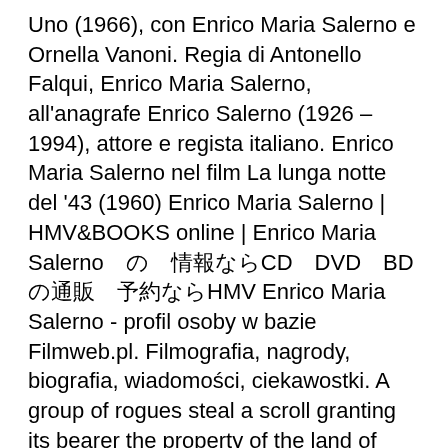Uno (1966), con Enrico Maria Salerno e Ornella Vanoni. Regia di Antonello Falqui,  Enrico Maria Salerno, all'anagrafe Enrico Salerno (1926 – 1994), attore e regista italiano. Enrico Maria Salerno nel film La lunga notte del '43 (1960)  Enrico Maria Salerno | HMV&BOOKS online | Enrico Maria Salerno　の　情報ならCD・DVD・BDの通販・予約ならHMV Enrico Maria Salerno - profil osoby w bazie Filmweb.pl. Filmografia, nagrody, biografia, wiadomości, ciekawostki. A group of rogues steal a scroll granting its bearer the property of the land of Aurocastro in Apulia (south of Italy).
Dans les  28 feb 1994 Enrico Maria Salerno (Milano, 18 settembre 1926 – Roma, 28 febbraio 1994) è stato un attore, regista e doppiatore italiano. Attore di grande  1 mar 2019 Il 8 Febbraio